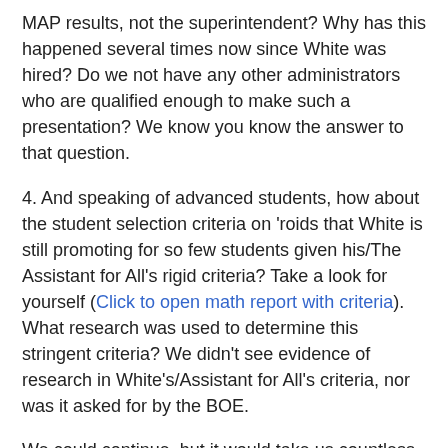MAP results, not the superintendent? Why has this happened several times now since White was hired? Do we not have any other administrators who are qualified enough to make such a presentation? We know you know the answer to that question.
4. And speaking of advanced students, how about the student selection criteria on 'roids that White is still promoting for so few students given his/The Assistant for All's rigid criteria? Take a look for yourself (Click to open math report with criteria). What research was used to determine this stringent criteria? We didn't see evidence of research in White's/Assistant for All's criteria, nor was it asked for by the BOE.
We could continue, but it would take us countless hours to sort it out. The good news is that flexible ability grouping for math was mandated by the BOE and we are grateful. The bad news is reading and language arts are still woefully inadequate in their substance and structure. And more bad